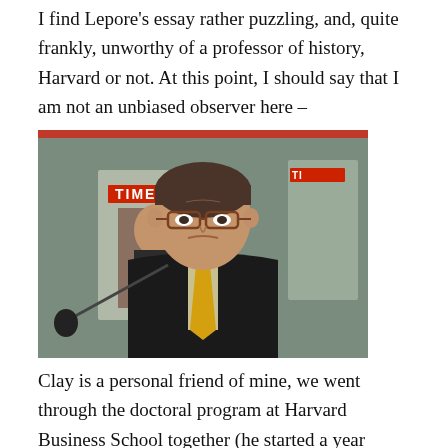I find Lepore's essay rather puzzling, and, quite frankly, unworthy of a professor of history, Harvard or not. At this point, I should say that I am not an unbiased observer here –
[Figure (photo): A man in a dark suit with glasses and a yellow tie, seated in front of a microphone. Time magazine covers visible in the blurred background.]
Clay is a personal friend of mine, we went through the doctoral program at Harvard Business School together (he started a year before me), he was on my thesis committee (having graduated three years ahead of me) and we have